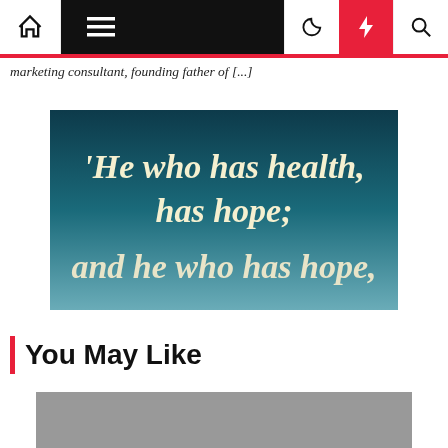Navigation bar with home, menu, moon, bolt, and search icons
marketing consultant, founding father of [...]
[Figure (illustration): Quote image with gradient teal-to-blue background and white cursive text reading: 'He who has health, has hope; and he who has hope,']
You May Like
[Figure (photo): Gray placeholder image at the bottom]